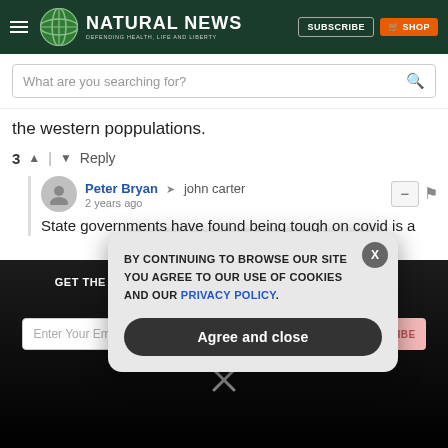Natural News — Defending Health, Life and Liberty
What are you searching for?
the western poppulations.
3 ^ | v Reply
Peter Bryan → john carter
2 years ago
State governments have found being tough on covid is a
GET THE WORLD'S BEST NATURAL HEALTH NEWSLETTER DELIVERED STRAIGHT TO YOUR INBOX
BY CONTINUING TO BROWSE OUR SITE YOU AGREE TO OUR USE OF COOKIES AND OUR PRIVACY POLICY.
Agree and close